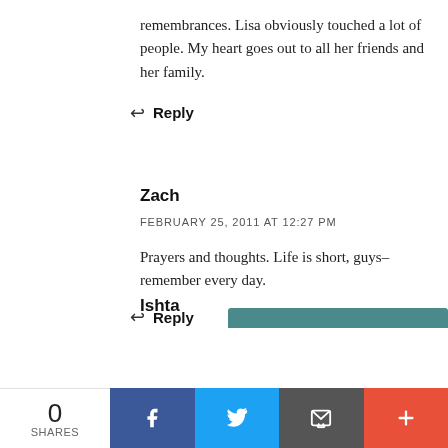remembrances. Lisa obviously touched a lot of people. My heart goes out to all her friends and her family.
↩ Reply
Zach
FEBRUARY 25, 2011 AT 12:27 PM
Prayers and thoughts. Life is short, guys–remember every day.
↩ Reply
Ishta
0 SHARES